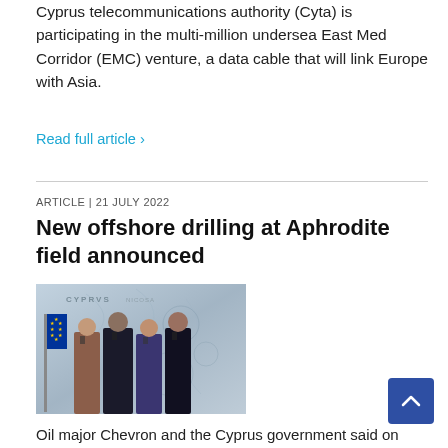Cyprus telecommunications authority (Cyta) is participating in the multi-million undersea East Med Corridor (EMC) venture, a data cable that will link Europe with Asia.
Read full article ›
ARTICLE | 21 JULY 2022
New offshore drilling at Aphrodite field announced
[Figure (photo): Four people standing in front of a Cyprus map backdrop, wearing face masks, including EU flag visible on left]
Oil major Chevron and the Cyprus government said on Thursday they are committed to speeding up development of the offshore Aphrodite gas field, with a new well will to